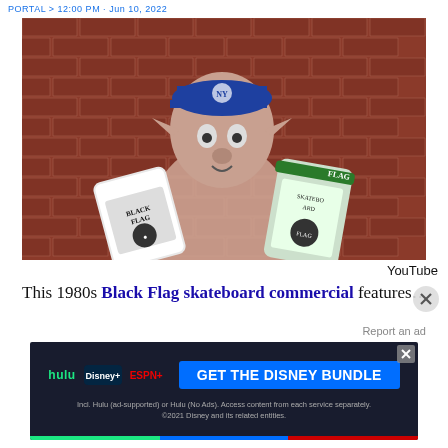PORTAL > 12:00 PM - Jun 10, 2022
[Figure (photo): A creature or puppet with an alien/goblin-like face wearing a blue cap and holding skateboard decks with Black Flag logos, standing in front of a brick wall.]
YouTube
This 1980s Black Flag skateboard commercial features...
Report an ad
[Figure (screenshot): Disney Bundle advertisement banner showing Hulu, Disney+, ESPN+ logos with GET THE DISNEY BUNDLE call-to-action button on dark background. Fine print: Incl. Hulu (ad-supported) or Hulu (No Ads). Access content from each service separately. ©2021 Disney and its related entities.]